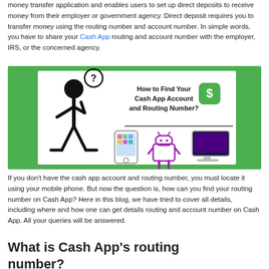money transfer application and enables users to set up direct deposits to receive money from their employer or government agency. Direct deposit requires you to transfer money using the routing number and account number. In simple words, you have to share your Cash App routing and account number with the employer, IRS, or the concerned agency.
[Figure (illustration): Infographic with green background showing a stick figure person thinking (with a question mark speech bubble), text 'How to Find Your Cash App Account and Routing Number?', a green Cash App logo with dollar sign, and icons of a smartphone, Android robot, and desktop monitor.]
If you don't have the cash app account and routing number, you must locate it using your mobile phone. But now the question is, how can you find your routing number on Cash App? Here in this blog, we have tried to cover all details, including where and how one can get details routing and account number on Cash App. All your queries will be answered.
What is Cash App's routing number?